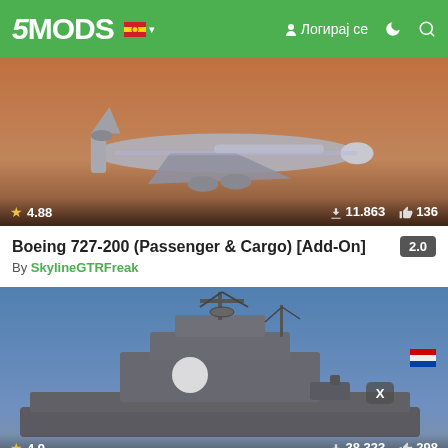5MODS | Логирај се
[Figure (photo): Boeing 727-200 aircraft in flight against an orange/sunset sky. Stats overlay: star rating 4.88, downloads 11.863, likes 136.]
Boeing 727-200 (Passenger & Cargo) [Add-On]
By SkylineGTRFreak
[Figure (photo): Military naval destroyer ship with radar towers and masts against a blue sky. Stats overlay: star rating 4.9, downloads 38.323, likes 298. A small 'X' badge visible.]